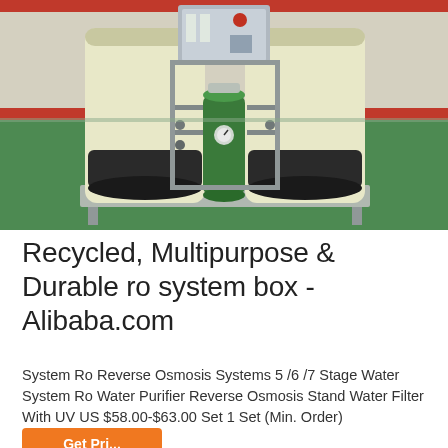[Figure (photo): Photo of a water purification system with two large cream/white cylindrical tanks on a metal platform, a green cylindrical filter in the center, and piping/valves. Set in an industrial room with green epoxy floor and red-trimmed walls. A control panel is visible in the background.]
Recycled, Multipurpose & Durable ro system box - Alibaba.com
System Ro Reverse Osmosis Systems 5 /6 /7 Stage Water System Ro Water Purifier Reverse Osmosis Stand Water Filter With UV US $58.00-$63.00 Set 1 Set (Min. Order)